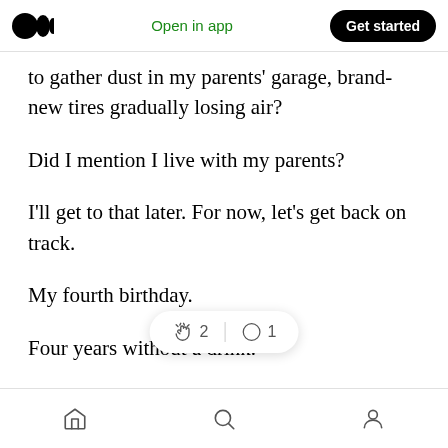Open in app | Get started
to gather dust in my parents' garage, brand-new tires gradually losing air?
Did I mention I live with my parents?
I'll get to that later. For now, let's get back on track.
My fourth birthday.
Four years without a drink.
I'm not a mathem...ning, but that's
Home | Search | Profile